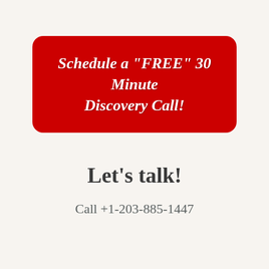[Figure (other): Red rounded rectangle button with italic bold white text reading: Schedule a "FREE" 30 Minute Discovery Call]
Let's talk!
Call +1-203-885-1447